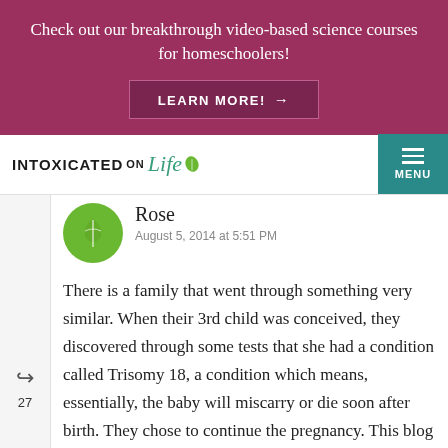Check out our breakthrough video-based science courses for homeschoolers!
LEARN MORE! →
[Figure (logo): Intoxicated on Life logo with leaf icon]
MENU
Rose
August 5, 2014 at 5:51 PM
There is a family that went through something very similar. When their 3rd child was conceived, they discovered through some tests that she had a condition called Trisomy 18, a condition which means, essentially, the baby will miscarry or die soon after birth. They chose to continue the pregnancy. This blog walks through their experience.